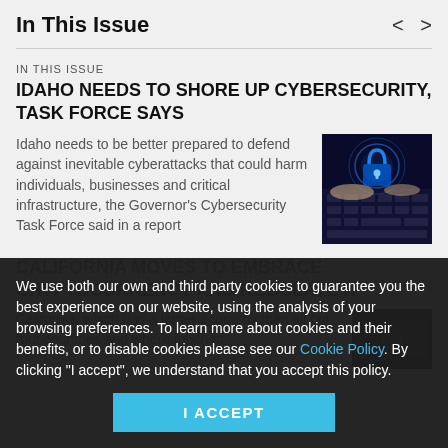In This Issue
IN THIS ISSUE
IDAHO NEEDS TO SHORE UP CYBERSECURITY, TASK FORCE SAYS
Idaho needs to be better prepared to defend against inevitable cyberattacks that could harm individuals, businesses and critical infrastructure, the Governor's Cybersecurity Task Force said in a report
[Figure (photo): Hands typing on a keyboard with a glowing blue padlock cybersecurity graphic overlay]
We use both our own and third party cookies to guarantee you the best experience on our website, using the analysis of your browsing preferences. To learn more about cookies and their benefits, or to disable cookies please see our Cookie Policy. By clicking "I accept", we understand that you accept this policy.
CALIFORNIA MOVES TO EMBRACE CRYPTOCURRENCY AND REGULATE IT
California, which has a larger economy than all but four countries and where much of
[Figure (photo): Dark image related to California cryptocurrency article]